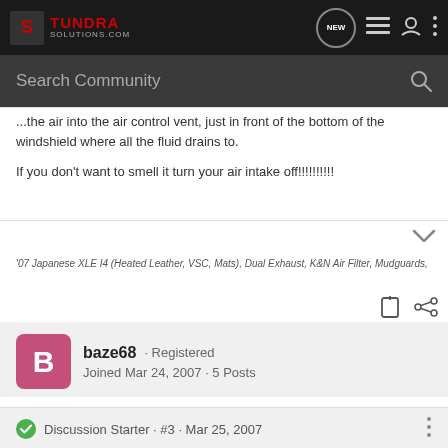TundraSolutions.com - NEW - navigation icons
...the air into the air control vent, just in front of the bottom of the windshield where all the fluid drains to.
If you don't want to smell it turn your air intake off!!!!!!!!!!
'07 Japanese XLE I4 (Heated Leather, VSC, Mats), Dual Exhaust, K&N Air Filter, Mudguards,
baze68 · Registered
Joined Mar 24, 2007 · 5 Posts
Discussion Starter · #3 · Mar 25, 2007